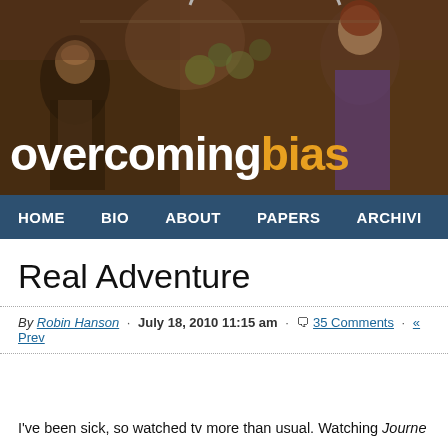[Figure (screenshot): Overcoming Bias website header banner with a fantasy painting background (Pre-Raphaelite style with armored figures and a woman). Shows site title 'overcoming bias' in white and gold text with an arc/semicircle logo element above.]
HOME   BIO   ABOUT   PAPERS   ARCHIVI
Real Adventure
By Robin Hanson · July 18, 2010 11:15 am · 35 Comments · « Prev
I've been sick, so watched tv more than usual. Watching Journey to the Center of the Earth, I noticed yet again how folks seem to like adventure stories and games to come with guides. People prefer main characters who follow a trail of clues via a map or book written by someone who has passed before, or at least to follow the advice of a wise old pers…
Note that in most other ways, such stories go out of their way to…